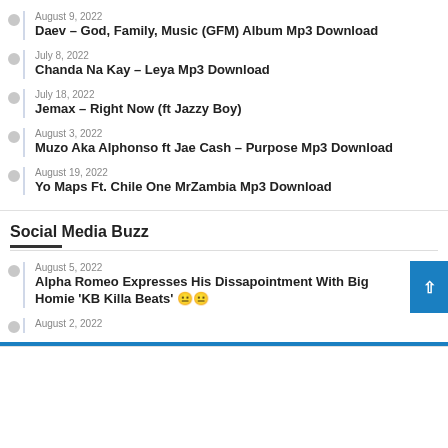August 9, 2022
Daev – God, Family, Music (GFM) Album Mp3 Download
July 8, 2022
Chanda Na Kay – Leya Mp3 Download
July 18, 2022
Jemax – Right Now (ft Jazzy Boy)
August 3, 2022
Muzo Aka Alphonso ft Jae Cash – Purpose Mp3 Download
August 19, 2022
Yo Maps Ft. Chile One MrZambia Mp3 Download
Social Media Buzz
August 5, 2022
Alpha Romeo Expresses His Dissapointment With Big Homie 'KB Killa Beats' 😐😐
August 2, 2022